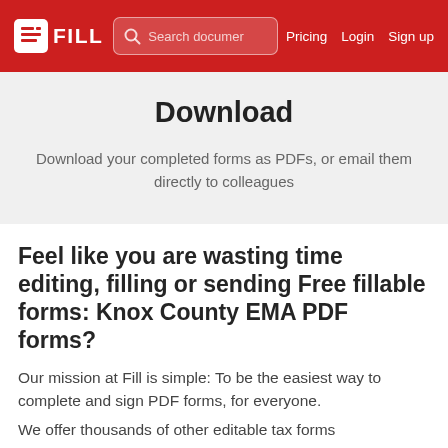FILL | Search documer | Pricing | Login | Sign up
Download
Download your completed forms as PDFs, or email them directly to colleagues
Feel like you are wasting time editing, filling or sending Free fillable forms: Knox County EMA PDF forms?
Our mission at Fill is simple: To be the easiest way to complete and sign PDF forms, for everyone.
We offer thousands of other editable tax forms